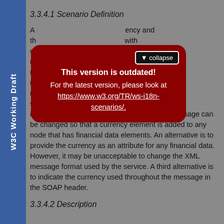W3C Working Draft
3.3.4.1 Scenario Definition
A ... currency and the ... with c... re... used by m... other m... be m... ne s... vo involve modifying the message format. The message can be changed so that a currency element is added to any node that has financial data elements. An alternative is to provide the currency as an attribute for any financial data. However, it may be unacceptable to change the XML message format used by the service. A third alternative is to indicate the currency used throughout the message in the SOAP header.
[Figure (screenshot): Red rounded-rectangle popup overlay with 'This version is outdated! For the latest version, please look at https://www.w3.org/TR/ws-i18n-scenarios/.' and a collapse button in the top right corner.]
3.3.4.2 Description